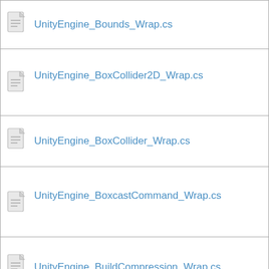| UnityEngine_Bounds_Wrap.cs |
| UnityEngine_BoxCollider2D_Wrap.cs |
| UnityEngine_BoxCollider_Wrap.cs |
| UnityEngine_BoxcastCommand_Wrap.cs |
| UnityEngine_BuildCompression_Wrap.cs |
| UnityEngine_BuoyancyEffector2D_Wrap |